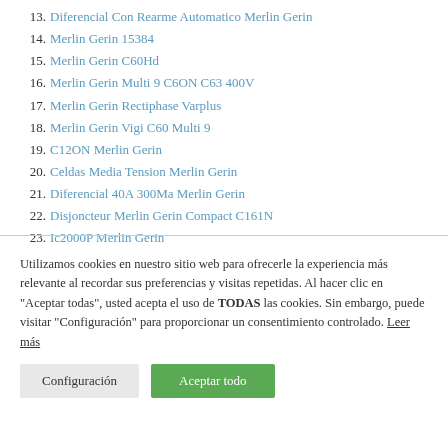13. Diferencial Con Rearme Automatico Merlin Gerin
14. Merlin Gerin 15384
15. Merlin Gerin C60Hd
16. Merlin Gerin Multi 9 C6ON C63 400V
17. Merlin Gerin Rectiphase Varplus
18. Merlin Gerin Vigi C60 Multi 9
19. C12ON Merlin Gerin
20. Celdas Media Tension Merlin Gerin
21. Diferencial 40A 300Ma Merlin Gerin
22. Disjoncteur Merlin Gerin Compact C161N
23. Ic2000P Merlin Gerin
Utilizamos cookies en nuestro sitio web para ofrecerle la experiencia más relevante al recordar sus preferencias y visitas repetidas. Al hacer clic en "Aceptar todas", usted acepta el uso de TODAS las cookies. Sin embargo, puede visitar "Configuración" para proporcionar un consentimiento controlado. Leer más
Configuración | Aceptar todo